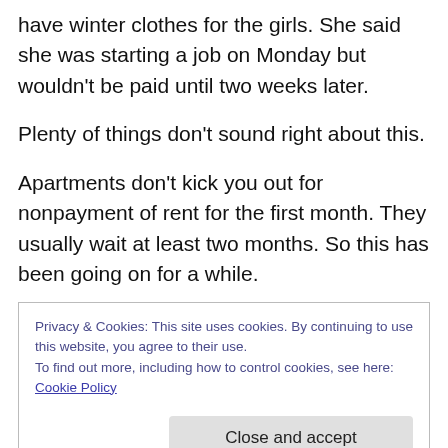have winter clothes for the girls. She said she was starting a job on Monday but wouldn't be paid until two weeks later.
Plenty of things don't sound right about this.
Apartments don't kick you out for nonpayment of rent for the first month. They usually wait at least two months. So this has been going on for a while.
If she has custody of the children, she should be getting child support. She didn't mention anything about this.
Privacy & Cookies: This site uses cookies. By continuing to use this website, you agree to their use.
To find out more, including how to control cookies, see here: Cookie Policy
plan ahead?